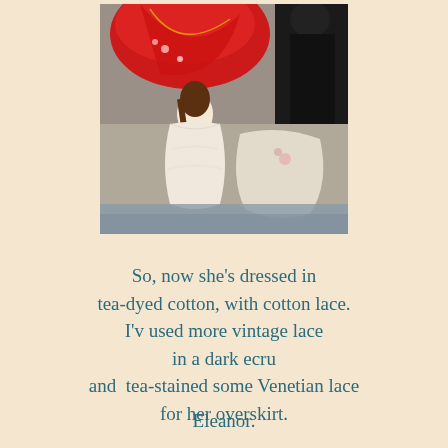[Figure (photo): Photo of dolls with vintage clothing — one doll in a white/cream tea-dyed cotton dress with lace, another in red dress, and a figure in black in the background, arranged on what appears to be a display surface.]
So, now she's dressed in tea-dyed cotton, with cotton lace. I'v used more vintage lace in a dark ecru and  tea-stained some Venetian lace for her overskirt.
Eleanor.